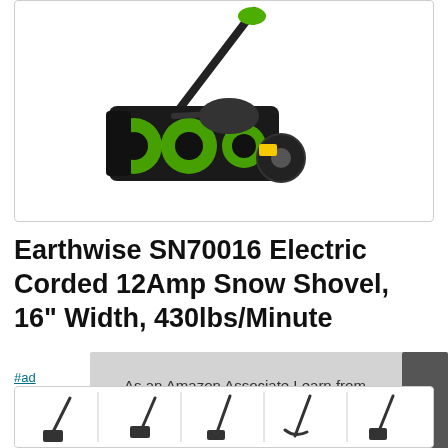[Figure (photo): Earthwise SN70016 electric corded snow shovel product photo on white background — black and green snow shovel with auger, wheels, and handle]
Earthwise SN70016 Electric Corded 12Amp Snow Shovel, 16" Width, 430lbs/Minute
#ad
As an Amazon Associate I earn from qualifying purchases. This website uses the only necessary cookies to ensure you get the best experience on our website. More information
[Figure (illustration): Small icon strip showing snow shovel usage diagrams at the bottom of the page]